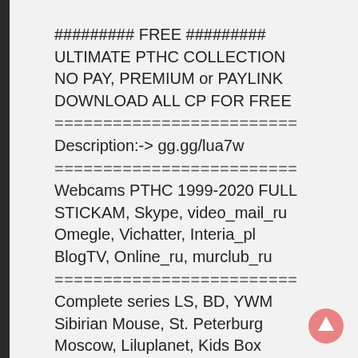######### FREE #########
ULTIMATE PTHC COLLECTION
NO PAY, PREMIUM or PAYLINK
DOWNLOAD ALL CP FOR FREE
=========================
Description:-> gg.gg/lua7w
=========================
Webcams PTHC 1999-2020 FULL
STICKAM, Skype, video_mail_ru
Omegle, Vichatter, Interia_pl
BlogTV, Online_ru, murclub_ru
=========================
Complete series LS, BD, YWM
Sibirian Mouse, St. Peterburg
Moscow, Liluplanet, Kids Box
Fattman, Falkovideo, Bibigon
Paradise Birds, GoldbergVideo
Fantasia Models, Cat Goddess
Valya and Irisa, Tropical Cuties
Deadpixel, PZ-magazine, BabyJ
Home Made Model (HMM)